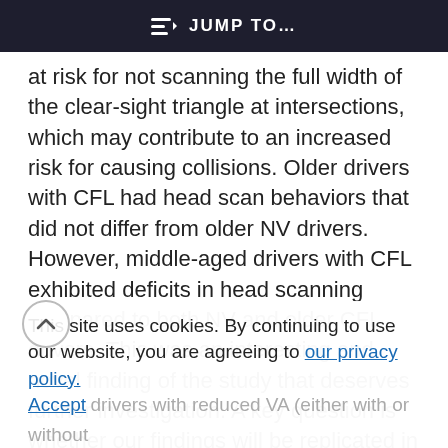≡D  JUMP TO…
at risk for not scanning the full width of the clear-sight triangle at intersections, which may contribute to an increased risk for causing collisions. Older drivers with CFL had head scan behaviors that did not differ from older NV drivers. However, middle-aged drivers with CFL exhibited deficits in head scanning compared to both NV and older CFL drivers. This was an interesting and novel finding of the study that deserves further investigation. A key question is whether our findings will be replicated in a larger sample of middle-aged current CFL drivers
This site uses cookies. By continuing to use our website, you are agreeing to our privacy policy. Accept